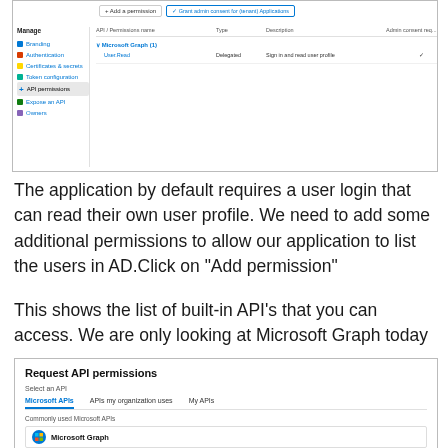[Figure (screenshot): Azure portal screenshot showing API permissions page with sidebar menu (Manage section: Branding, Authentication, Certificates & secrets, Token configuration, API permissions highlighted, Expose an API, Owners) and main area showing API Permissions table with Microsoft Graph (1) group containing User.Read delegated permission for Sign in and read user profile. Top buttons include Add a permission and Grant admin consent for (tenant) Applications.]
The application by default requires a user login that can read their own user profile. We need to add some additional permissions to allow our application to list the users in AD.Click on “Add permission”
This shows the list of built-in API’s that you can access. We are only looking at Microsoft Graph today
[Figure (screenshot): Azure portal screenshot showing 'Request API permissions' dialog. Select an API section with tabs: Microsoft APIs (active, underlined in blue), APIs my organization uses, My APIs. Below: Commonly used Microsoft APIs section with Microsoft Graph card visible at bottom.]